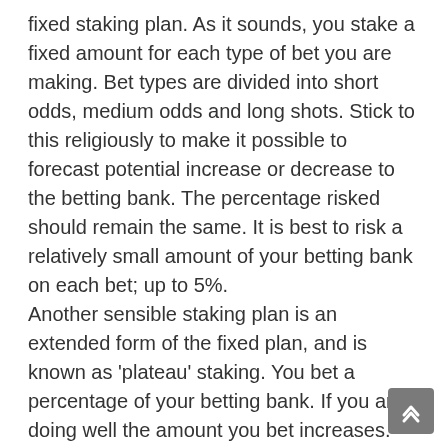fixed staking plan. As it sounds, you stake a fixed amount for each type of bet you are making. Bet types are divided into short odds, medium odds and long shots. Stick to this religiously to make it possible to forecast potential increase or decrease to the betting bank. The percentage risked should remain the same. It is best to risk a relatively small amount of your betting bank on each bet; up to 5%. Another sensible staking plan is an extended form of the fixed plan, and is known as 'plateau' staking. You bet a percentage of your betting bank. If you are doing well the amount you bet increases. Start losing the amount staked decreases. For a sports betting strategy I would recommend taking the best features of these two types of staking plan. As follows… …Use a point system of 1 to 10 'points'. Where 10, is being the strongest, most